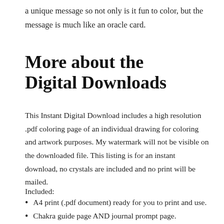a unique message so not only is it fun to color, but the message is much like an oracle card.
More about the Digital Downloads
This Instant Digital Download includes a high resolution .pdf coloring page of an individual drawing for coloring and artwork purposes. My watermark will not be visible on the downloaded file. This listing is for an instant download, no crystals are included and no print will be mailed.
Included:
A4 print (.pdf document) ready for you to print and use.
Chakra guide page AND journal prompt page.
My design comes from my own original artwork. Ple...